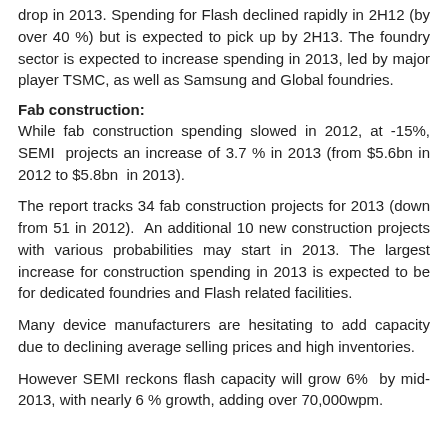drop in 2013. Spending for Flash declined rapidly in 2H12 (by over 40 %) but is expected to pick up by 2H13. The foundry sector is expected to increase spending in 2013, led by major player TSMC, as well as Samsung and Global foundries.
Fab construction:
While fab construction spending slowed in 2012, at -15%, SEMI projects an increase of 3.7 % in 2013 (from $5.6bn in 2012 to $5.8bn in 2013).
The report tracks 34 fab construction projects for 2013 (down from 51 in 2012). An additional 10 new construction projects with various probabilities may start in 2013. The largest increase for construction spending in 2013 is expected to be for dedicated foundries and Flash related facilities.
Many device manufacturers are hesitating to add capacity due to declining average selling prices and high inventories.
However SEMI reckons flash capacity will grow 6% by mid-2013, with nearly 6 % growth, adding over 70,000wpm.